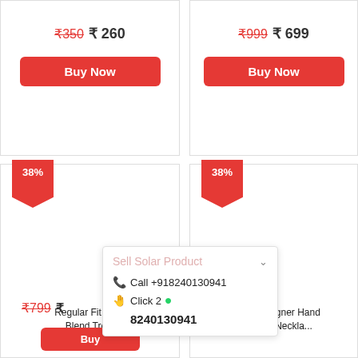₹350  ₹ 260
Buy Now
₹999  ₹ 699
Buy Now
38%
38%
Regular Fit Boys ... Blend Tro...
...ated Designer Hand ...crafted Neckla...
Sell Solar Product
Call +918240130941
Click 2 8240130941
₹799  ₹